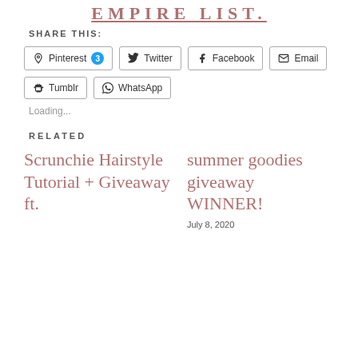EMPIRE LIST.
SHARE THIS:
Pinterest 3  Twitter  Facebook  Email  Tumblr  WhatsApp
Loading...
RELATED
Scrunchie Hairstyle Tutorial + Giveaway ft.
summer goodies giveaway WINNER!
July 8, 2020